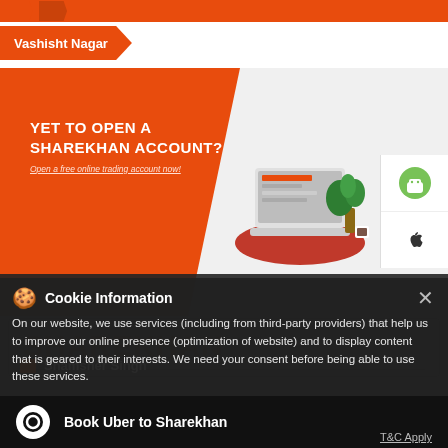Vashisht Nagar
[Figure (screenshot): Sharekhan promotional banner with text 'YET TO OPEN A SHAREKHAN ACCOUNT? Open a free online trading account now!' with laptop and plant illustration, Android and Apple app store icons on right side]
SHAREKHAN
Shamsher Singh
No 344
Cookie Information
On our website, we use services (including from third-party providers) that help us to improve our online presence (optimization of website) and to display content that is geared to their interests. We need your consent before being able to use these services.
Book Uber to Sharekhan
T&C Apply